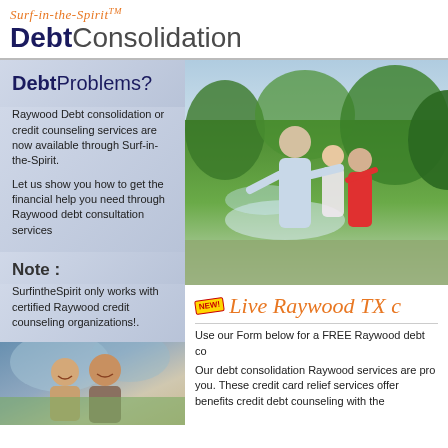Surf-in-the-Spirit™ Debt Consolidation
Debt Problems?
Raywood Debt consolidation or credit counseling services are now available through Surf-in-the-Spirit.
Let us show you how to get the financial help you need through Raywood debt consultation services
Note :
SurfintheSpirit only works with certified Raywood credit counseling organizations!.
[Figure (photo): Family playing outdoors in garden with sprinkler]
[Figure (photo): Smiling couple outdoors]
NEW! Live Raywood TX c
Use our Form below for a FREE Raywood debt co
Our debt consolidation Raywood services are pro you. These credit card relief services offer benefits credit debt counseling with the